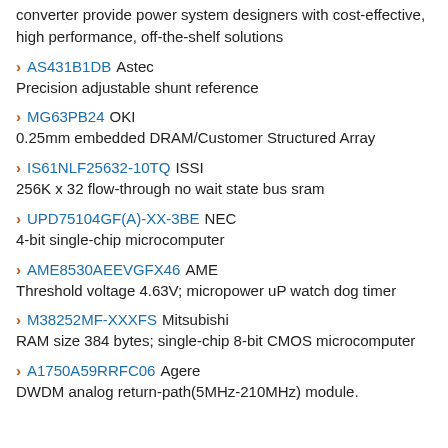converter provide power system designers with cost-effective, high performance, off-the-shelf solutions
AS431B1DB Astec
Precision adjustable shunt reference
MG63PB24 OKI
0.25mm embedded DRAM/Customer Structured Array
IS61NLF25632-10TQ ISSI
256K x 32 flow-through no wait state bus sram
UPD75104GF(A)-XX-3BE NEC
4-bit single-chip microcomputer
AME8530AEEVGFX46 AME
Threshold voltage 4.63V; micropower uP watch dog timer
M38252MF-XXXFS Mitsubishi
RAM size 384 bytes; single-chip 8-bit CMOS microcomputer
A1750A59RRFC06 Agere
DWDM analog return-path(5MHz-210MHz) module.